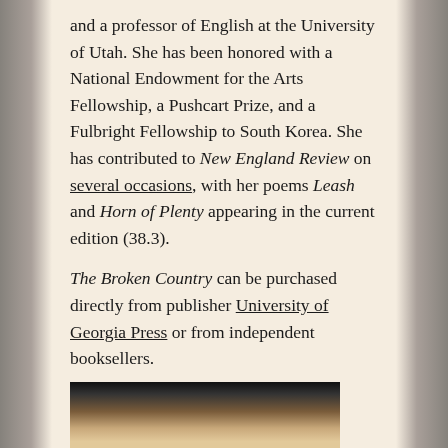and a professor of English at the University of Utah. She has been honored with a National Endowment for the Arts Fellowship, a Pushcart Prize, and a Fulbright Fellowship to South Korea. She has contributed to New England Review on several occasions, with her poems Leash and Horn of Plenty appearing in the current edition (38.3).
The Broken Country can be purchased directly from publisher University of Georgia Press or from independent booksellers.
[Figure (other): Small decorative typographic symbol resembling a stylized 'p' or paragraph mark, used as a section divider]
[Figure (photo): Partial view of a book cover at the bottom of the page, showing dark and warm brown tones]